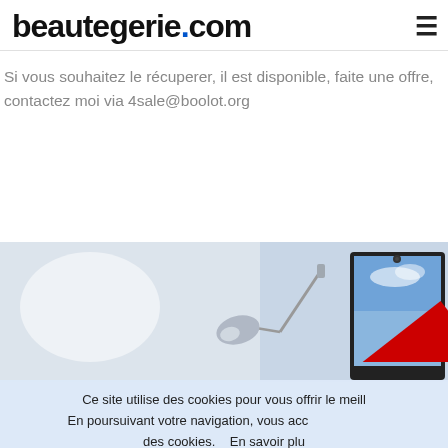beautegerie.com
Si vous souhaitez le récuperer, il est disponible, faite une offre, contactez moi via 4sale@boolot.org
[Figure (photo): A desk lamp and monitor on a light background, with a red 'SITE A VENDRE' ribbon overlay in the bottom right corner]
Ce site utilise des cookies pour vous offrir le meill... En poursuivant votre navigation, vous acc... des cookies.    En savoir plu...